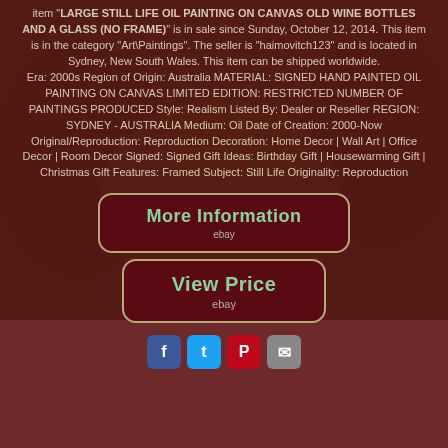item "LARGE STILL LIFE OIL PAINTING ON CANVAS OLD WINE BOTTLES AND A GLASS (NO FRAME)" is in sale since Sunday, October 12, 2014. This item is in the category "Art\Paintings". The seller is "haimovitch123" and is located in Sydney, New South Wales. This item can be shipped worldwide. Era: 2000s Region of Origin: Australia MATERIAL: SIGNED HAND PAINTED OIL PAINTING ON CANVAS LIMITED EDITION: RESTRICTED NUMBER OF PAINTINGS PRODUCED Style: Realism Listed By: Dealer or Reseller REGION: SYDNEY - AUSTRALIA Medium: Oil Date of Creation: 2000-Now Original/Reproduction: Reproduction Decoration: Home Decor | Wall Art | Office Decor | Room Decor Signed: Signed Gift Ideas: Birthday Gift | Housewarming Gift | Christmas Gift Features: Framed Subject: Still Life Originality: Reproduction
[Figure (other): Button: More Information (ebay)]
[Figure (other): Button: View Price (ebay)]
[Figure (other): Social sharing icons: Facebook, Twitter, Pinterest, Email]